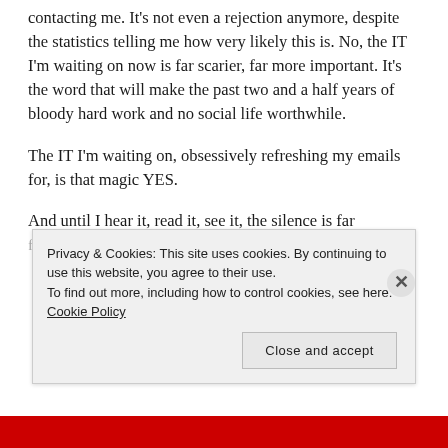contacting me. It's not even a rejection anymore, despite the statistics telling me how very likely this is. No, the IT I'm waiting on now is far scarier, far more important. It's the word that will make the past two and a half years of bloody hard work and no social life worthwhile.
The IT I'm waiting on, obsessively refreshing my emails for, is that magic YES.
And until I hear it, read it, see it, the silence is far [cut off]
Privacy & Cookies: This site uses cookies. By continuing to use this website, you agree to their use.
To find out more, including how to control cookies, see here: Cookie Policy